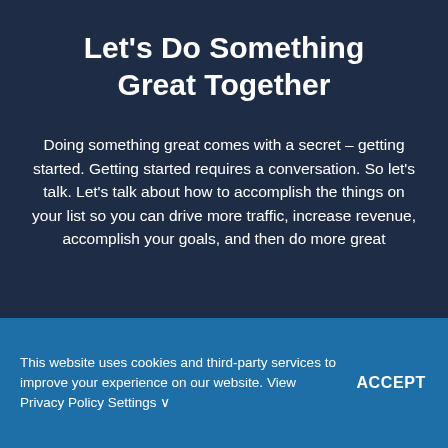Let's Do Something Great Together
Doing something great comes with a secret – getting started. Getting started requires a conversation. So let's talk. Let's talk about how to accomplish the things on your list so you can drive more traffic, increase revenue, accomplish your goals, and then do more great
This website uses cookies and third-party services to improve your experience on our website. View Privacy Policy Settings ∨
ACCEPT